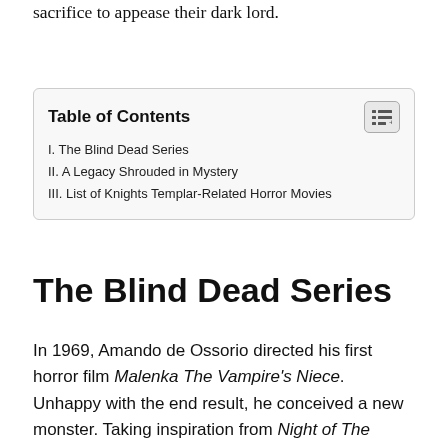sacrifice to appease their dark lord.
| Table of Contents |
| --- |
| I. The Blind Dead Series |
| II. A Legacy Shrouded in Mystery |
| III. List of Knights Templar-Related Horror Movies |
The Blind Dead Series
In 1969, Amando de Ossorio directed his first horror film Malenka The Vampire's Niece. Unhappy with the end result, he conceived a new monster. Taking inspiration from Night of The Living Dead, came a nightmare of vengeful lichens based on the Knights Templar. In 1971 he pioneered Spain's horror genre with Tombs of The Blind Dead. An unholy birth of